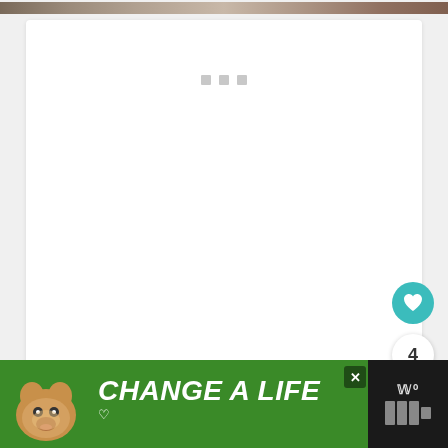[Figure (photo): Top strip showing a nature/rocky outdoor scene image]
[Figure (screenshot): White card content area with three small gray loading placeholder squares]
[Figure (illustration): Teal circular heart/favorite button on the right side]
4
[Figure (illustration): White circular share button with share icon]
[Figure (illustration): Bottom advertisement banner with green background, dog photo, text CHANGE A LIFE with heart icon, close X button, and brand logo on right]